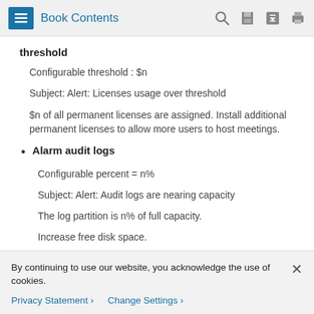Book Contents
threshold
Configurable threshold : $n
Subject: Alert: Licenses usage over threshold
$n of all permanent licenses are assigned. Install additional permanent licenses to allow more users to host meetings.
Alarm audit logs
Configurable percent = n%
Subject: Alert: Audit logs are nearing capacity
The log partition is n% of full capacity.
Increase free disk space.
By continuing to use our website, you acknowledge the use of cookies.
Privacy Statement > Change Settings >